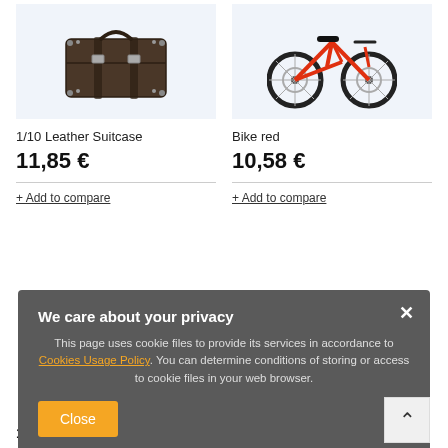[Figure (photo): Product photo of a 1/10 scale leather suitcase model, brown with metal clasps, on white background]
[Figure (photo): Product photo of a red miniature BMX bike model with black tires, on white background]
1/10 Leather Suitcase
Bike red
11,85 €
10,58 €
+ Add to compare
+ Add to compare
We care about your privacy
This page uses cookie files to provide its services in accordance to Cookies Usage Policy. You can determine conditions of storing or access to cookie files in your web browser.
Close
10,58 €
10,58 €